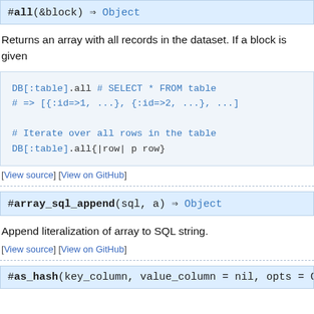#all(&block) ⇒ Object
Returns an array with all records in the dataset. If a block is given
[Figure (screenshot): Code block showing DB[:table].all # SELECT * FROM table
# => [{:id=>1, ...}, {:id=>2, ...}, ...]

# Iterate over all rows in the table
DB[:table].all{|row| p row}]
[View source] [View on GitHub]
#array_sql_append(sql, a) ⇒ Object
Append literalization of array to SQL string.
[View source] [View on GitHub]
#as_hash(key_column, value_column = nil, opts = O